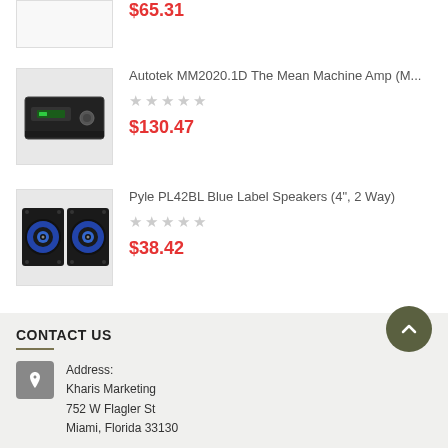$65.31
[Figure (photo): Black car amplifier - Autotek MM2020.1D The Mean Machine]
Autotek MM2020.1D The Mean Machine Amp (M...
★★★★★ (empty stars)
$130.47
[Figure (photo): Pyle PL42BL Blue Label Speakers 4 inch 2 Way - two round speakers with blue cones]
Pyle PL42BL Blue Label Speakers (4", 2 Way)
★★★★★ (empty stars)
$38.42
CONTACT US
Address:
Kharis Marketing
752 W Flagler St
Miami, Florida 33130